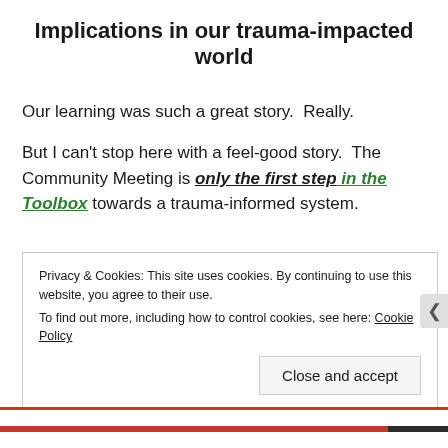Implications in our trauma-impacted world
Our learning was such a great story.  Really.
But I can't stop here with a feel-good story.  The Community Meeting is only the first step in the Toolbox towards a trauma-informed system.
Privacy & Cookies: This site uses cookies. By continuing to use this website, you agree to their use.
To find out more, including how to control cookies, see here: Cookie Policy
Close and accept